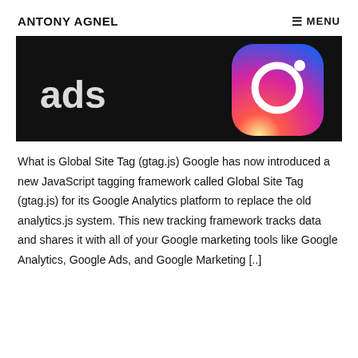ANTONY AGNEL   MENU
[Figure (photo): Close-up photo of a smartphone screen showing Google Ads icon on a dark background with the word 'ads' visible on the left and a colorful app icon on the right]
What is Global Site Tag (gtag.js) Google has now introduced a new JavaScript tagging framework called Global Site Tag (gtag.js) for its Google Analytics platform to replace the old analytics.js system. This new tracking framework tracks data and shares it with all of your Google marketing tools like Google Analytics, Google Ads, and Google Marketing [..]